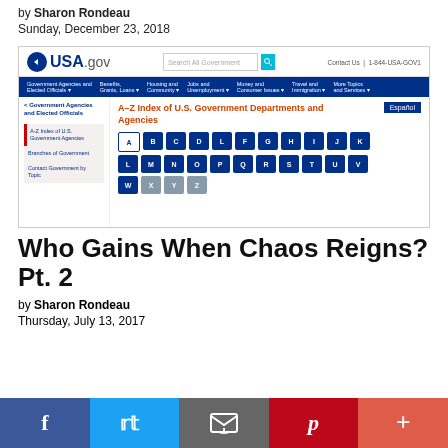by Sharon Rondeau
Sunday, December 23, 2018
[Figure (screenshot): Screenshot of USA.gov website showing the A-Z Index of U.S. Government Departments and Agencies page with navigation header, search bar, sidebar links, and alphabetical letter grid buttons.]
Who Gains When Chaos Reigns? Pt. 2
by Sharon Rondeau
Thursday, July 13, 2017
[Figure (infographic): Social sharing footer bar with Facebook, Twitter, Email, Pinterest, and More buttons]